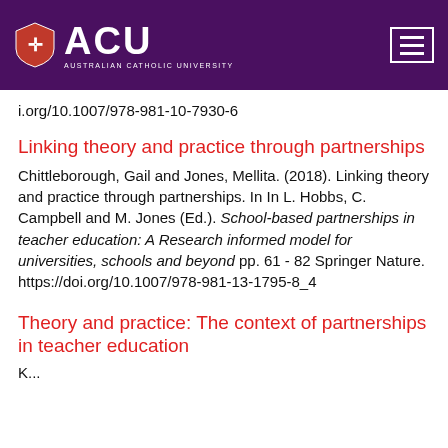[Figure (logo): Australian Catholic University (ACU) logo with purple banner header and hamburger menu button]
i.org/10.1007/978-981-10-7930-6
Linking theory and practice through partnerships
Chittleborough, Gail and Jones, Mellita. (2018). Linking theory and practice through partnerships. In In L. Hobbs, C. Campbell and M. Jones (Ed.). School-based partnerships in teacher education: A Research informed model for universities, schools and beyond pp. 61 - 82 Springer Nature. https://doi.org/10.1007/978-981-13-1795-8_4
Theory and practice: The context of partnerships in teacher education
K...